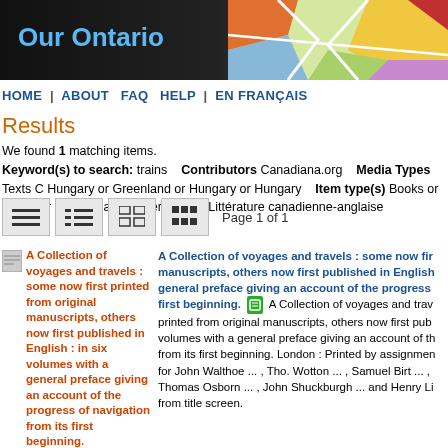Our Ontario
[Figure (screenshot): Colorful map decoration in top-right of header banner]
HOME | ABOUT FAQ HELP | EN FRANÇAIS
Results
We found 1 matching items.
Keyword(s) to search: trains   Contributors Canadiana.org   Media Types Texts C Hungary or Greenland or Hungary or Hungary   Item type(s) Books or Books or Boo Canadian Literature or Littérature canadienne-anglaise
[Figure (other): Four view-mode toggle icon buttons (list, detail, grid small, grid large) followed by Page 1 of 1]
Page 1 of 1
[Figure (other): Thumbnail image of book A Collection of voyages and travels]
A Collection of voyages and travels : some now first printed from original manuscripts, others now first published in English : in six volumes with a general preface giving an account of the progress of navigation from its first beginning.
A Collection of voyages and travels : some now first manuscripts, others now first published in English general preface giving an account of the progress first beginning.  A Collection of voyages and trav printed from original manuscripts, others now first pub volumes with a general preface giving an account of th from its first beginning. London : Printed by assignmen for John Walthoe ... , Tho. Wotton ... , Samuel Birt ... , Thomas Osborn ... , John Shuckburgh ... and Henry Li from title screen.